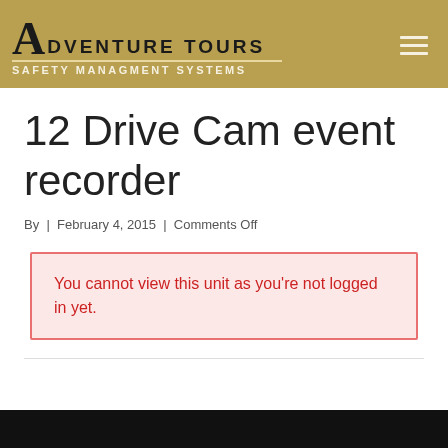ADVENTURE TOURS | SAFETY MANAGMENT SYSTEMS
12 Drive Cam event recorder
By | February 4, 2015 | Comments Off
You cannot view this unit as you're not logged in yet.